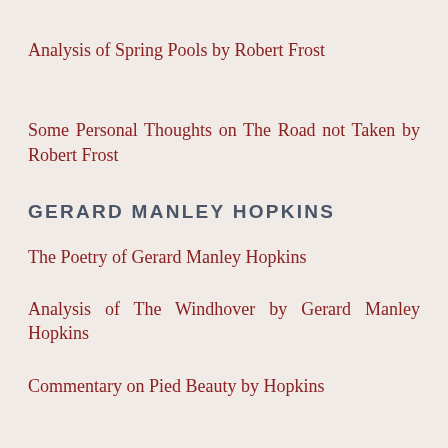Analysis of Spring Pools by Robert Frost
Some Personal Thoughts on The Road not Taken by Robert Frost
GERARD MANLEY HOPKINS
The Poetry of Gerard Manley Hopkins
Analysis of The Windhover by Gerard Manley Hopkins
Commentary on Pied Beauty by Hopkins